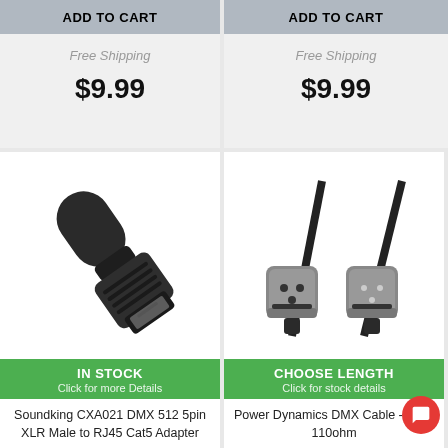ADD TO CART
Free Shipping
$9.99
ADD TO CART
Free Shipping
$9.99
[Figure (photo): Soundking CXA021 DMX 512 5pin XLR Male to RJ45 Cat5 Adapter - black cylindrical adapter with RJ45 port]
IN STOCK
Click for more Details
Soundking CXA021 DMX 512 5pin XLR Male to RJ45 Cat5 Adapter
[Figure (photo): Power Dynamics DMX Cable - 3-pin 110ohm - two XLR cable connectors (female and male) with black cables]
CHOOSE LENGTH
Click for stock details
Power Dynamics DMX Cable - 3-pin 110ohm